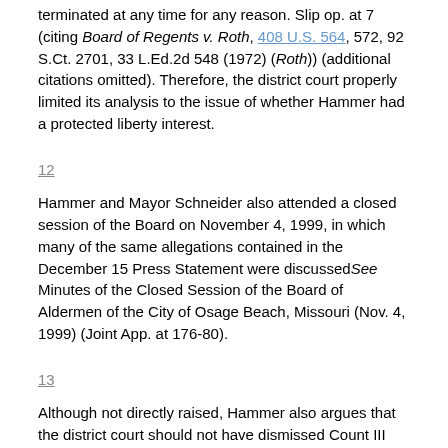terminated at any time for any reason. Slip op. at 7 (citing Board of Regents v. Roth, 408 U.S. 564, 572, 92 S.Ct. 2701, 33 L.Ed.2d 548 (1972) (Roth)) (additional citations omitted). Therefore, the district court properly limited its analysis to the issue of whether Hammer had a protected liberty interest.
12
Hammer and Mayor Schneider also attended a closed session of the Board on November 4, 1999, in which many of the same allegations contained in the December 15 Press Statement were discussedSee Minutes of the Closed Session of the Board of Aldermen of the City of Osage Beach, Missouri (Nov. 4, 1999) (Joint App. at 176-80).
13
Although not directly raised, Hammer also argues that the district court should not have dismissed Count III against Mayor Schneider. Hammer maintains that because Defendants have taken the position that Mayor Schneider terminated Hammer, pleading in the alternative, Mayor Schneider would be the proper defendant under Count III. Federal district courts may "grant summary judgmentsua sponte when the losing party is given sufficient advance notice and an adequate opportunity to